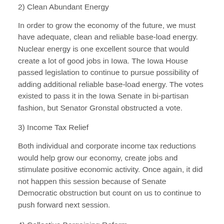2) Clean Abundant Energy
In order to grow the economy of the future, we must have adequate, clean and reliable base-load energy. Nuclear energy is one excellent source that would create a lot of good jobs in Iowa. The Iowa House passed legislation to continue to pursue possibility of adding additional reliable base-load energy. The votes existed to pass it in the Iowa Senate in bi-partisan fashion, but Senator Gronstal obstructed a vote.
3) Income Tax Relief
Both individual and corporate income tax reductions would help grow our economy, create jobs and stimulate positive economic activity. Once again, it did not happen this session because of Senate Democratic obstruction but count on us to continue to push forward next session.
4) Collective Bargaining Reform